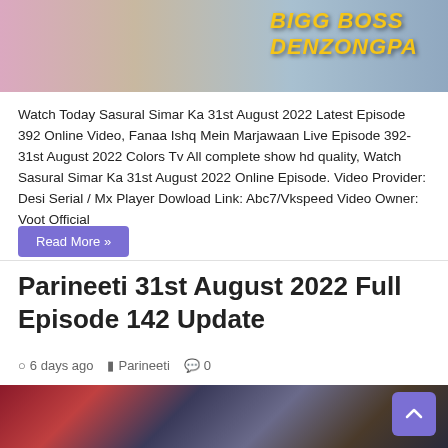[Figure (photo): Photo of three women in traditional Indian clothing standing in front of a colorful backdrop with text 'BIGG BOSS DENZONGPA']
Watch Today Sasural Simar Ka 31st August 2022 Latest Episode 392 Online Video, Fanaa Ishq Mein Marjawaan Live Episode 392- 31st August 2022 Colors Tv All complete show hd quality, Watch Sasural Simar Ka 31st August 2022 Online Episode. Video Provider: Desi Serial / Mx Player Dowload Link: Abc7/Vkspeed Video Owner: Voot Official
Read More »
Parineeti 31st August 2022 Full Episode 142 Update
6 days ago   Parineeti   0
[Figure (photo): Photo of a man in traditional Indian groom attire (green turban) and a woman in red bridal wear at what appears to be a wedding scene]